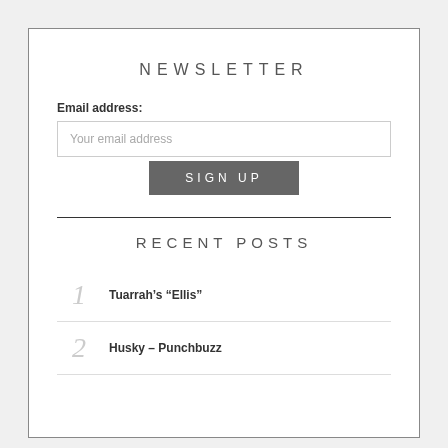NEWSLETTER
Email address:
Your email address
SIGN UP
RECENT POSTS
1 Tuarrah’s “Ellis”
2 Husky – Punchbuzz